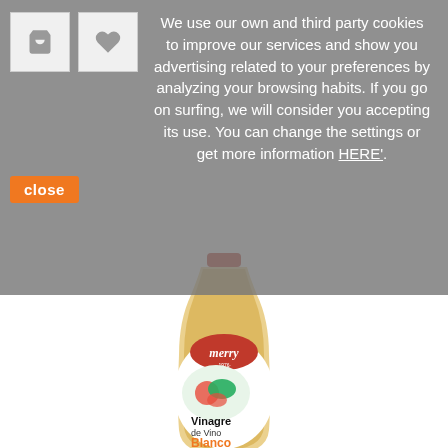We use our own and third party cookies to improve our services and show you advertising related to your preferences by analyzing your browsing habits. If you go on surfing, we will consider you accepting its use. You can change the settings or get more information HERE'.
[Figure (photo): A bottle of Merry brand White Wine Vinegar (Vinagre de Vino Blanco), 1 litre, with a red cap and a label showing salad vegetables and the Merry 1976 logo.]